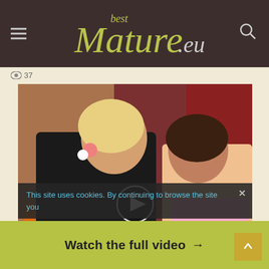BestMature.eu
👁 37
[Figure (screenshot): Video thumbnail showing two mature women in a living room setting with a play button overlay in the center]
This site uses cookies. By continuing to browse the site you
Watch the full video →